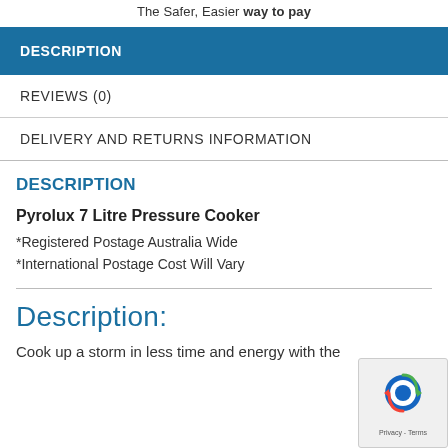The Safer, Easier way to pay
DESCRIPTION
REVIEWS (0)
DELIVERY AND RETURNS INFORMATION
DESCRIPTION
Pyrolux 7 Litre Pressure Cooker
*Registered Postage Australia Wide
*International Postage Cost Will Vary
Description:
Cook up a storm in less time and energy with the